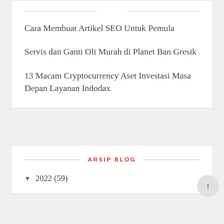Cara Membuat Artikel SEO Untuk Pemula
Servis dan Ganti Oli Murah di Planet Ban Gresik
13 Macam Cryptocurrency Aset Investasi Masa Depan Layanan Indodax
ARSIP BLOG
▼ 2022 (59)